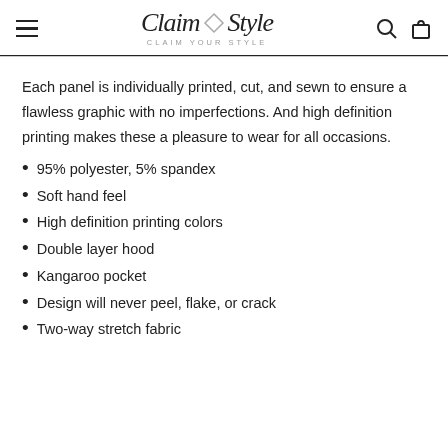Claim Your Style — CLAIM YOUR STYLE
Each panel is individually printed, cut, and sewn to ensure a flawless graphic with no imperfections. And high definition printing makes these a pleasure to wear for all occasions.
95% polyester, 5% spandex
Soft hand feel
High definition printing colors
Double layer hood
Kangaroo pocket
Design will never peel, flake, or crack
Two-way stretch fabric